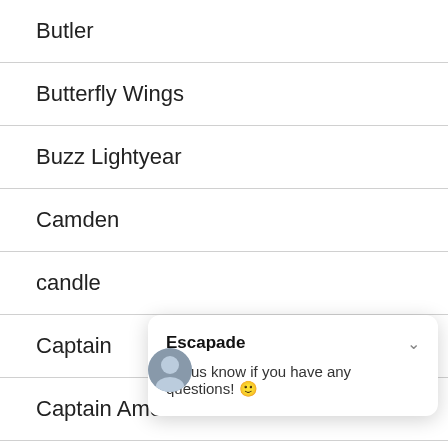Butler
Butterfly Wings
Buzz Lightyear
Camden
candle
Captain
Captain America
Captain Hoo[k]
Captain Jack Sparrow
Escapade
Let us know if you have any questions! 😊